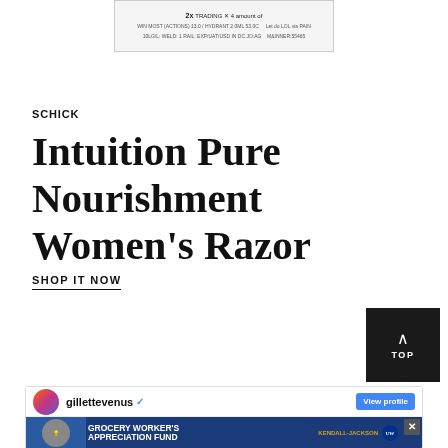[Figure (screenshot): Advertisement banner at top showing product with text including '2X', pricing and product details]
SCHICK
Intuition Pure Nourishment Women's Razor
SHOP IT NOW
[Figure (screenshot): Black 'TOP' button with upward arrow for scrolling to top of page]
[Figure (screenshot): Social media card showing gillettevenus Instagram profile with View profile button and advertisement overlay for Grocery Worker's Appreciation Fund featuring Kendall-Jackson and United Way logos]